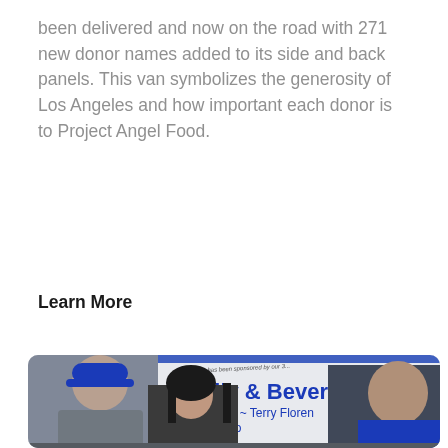been delivered and now on the road with 271 new donor names added to its side and back panels. This van symbolizes the generosity of Los Angeles and how important each donor is to Project Angel Food.
Learn More
[Figure (photo): Three people posing in front of a white and blue Project Angel Food delivery van. The van has donor names printed on it including 'James Kelly & Beverlee Bi...', '~ Carolyn Cohen ~ Terry Floren...', 'erick Lawso...'. The man on the left wears a blue baseball cap with Project Angel Food logo, the woman in the middle has dark hair and is smiling, and the young man on the right wears a blue jacket.]